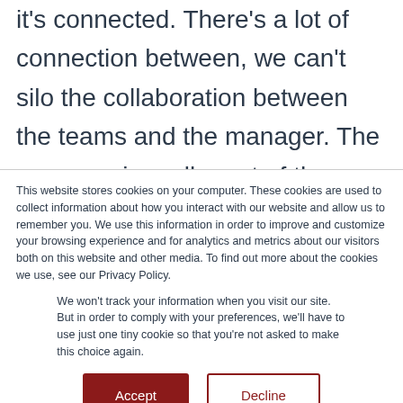it's connected. There's a lot of connection between, we can't silo the collaboration between the teams and the manager. The manager is really part of the team, but I've been also working on identifying practices and also very much inspired from all the
This website stores cookies on your computer. These cookies are used to collect information about how you interact with our website and allow us to remember you. We use this information in order to improve and customize your browsing experience and for analytics and metrics about our visitors both on this website and other media. To find out more about the cookies we use, see our Privacy Policy.
We won't track your information when you visit our site. But in order to comply with your preferences, we'll have to use just one tiny cookie so that you're not asked to make this choice again.
Accept | Decline